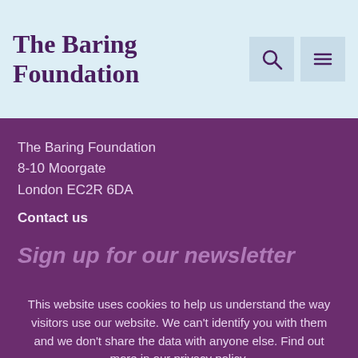The Baring Foundation
The Baring Foundation
8-10 Moorgate
London EC2R 6DA
Contact us
Sign up for our newsletter
This website uses cookies to help us understand the way visitors use our website. We can't identify you with them and we don't share the data with anyone else. Find out more in our privacy policy.
Accept cookies | Reject cookies